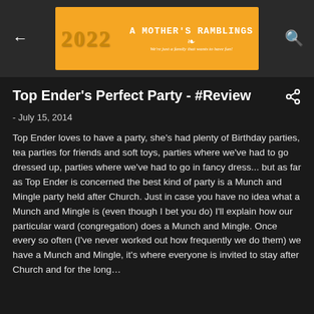A Mother's Ramblings — We're just a family that wants to have fun!
Top Ender's Perfect Party - #Review
- July 15, 2014
Top Ender loves to have a party, she's had plenty of Birthday parties, tea parties for friends and soft toys, parties where we've had to go dressed up, parties where we've had to go in fancy dress... but as far as Top Ender is concerned the best kind of party is a Munch and Mingle party held after Church. Just in case you have no idea what a Munch and Mingle is (even though I bet you do) I'll explain how our particular ward (congregation) does a Munch and Mingle. Once every so often (I've never worked out how frequently we do them) we have a Munch and Mingle, it's where everyone is invited to stay after Church and for the long…